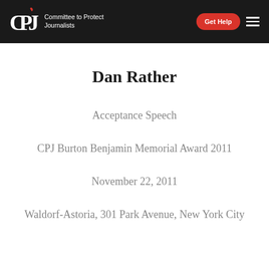CPJ Committee to Protect Journalists | Get Help
Dan Rather
Acceptance Speech
CPJ Burton Benjamin Memorial Award 2011
November 22, 2011
Waldorf-Astoria, 301 Park Avenue, New York City